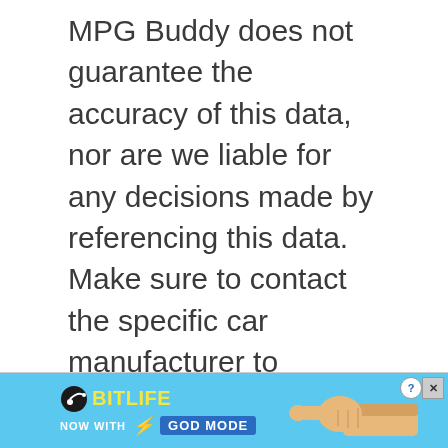MPG Buddy does not guarantee the accuracy of this data, nor are we liable for any decisions made by referencing this data. Make sure to contact the specific car manufacturer to confirm accuracy.
[Figure (illustration): BitLife advertisement banner with blue background, BitLife logo in yellow text, 'NOW WITH GOD MODE' text, lightning bolt graphic, and a cartoon hand pointing right. Has help (?) and close (X) buttons in top right corner.]